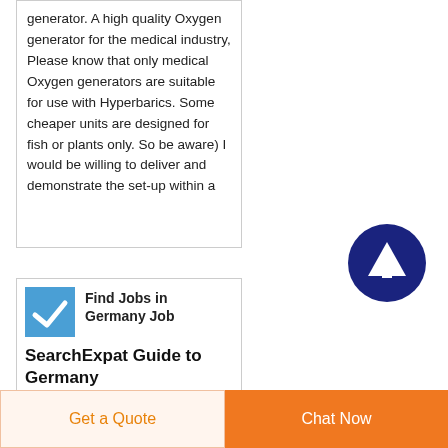generator. A high quality Oxygen generator for the medical industry, Please know that only medical Oxygen generators are suitable for use with Hyperbarics. Some cheaper units are designed for fish or plants only. So be aware) I would be willing to deliver and demonstrate the set-up within a
[Figure (other): Dark blue circular button with white upward arrow icon]
[Figure (logo): Blue square icon with a white check/tick mark]
Find Jobs in Germany Job SearchExpat Guide to Germany